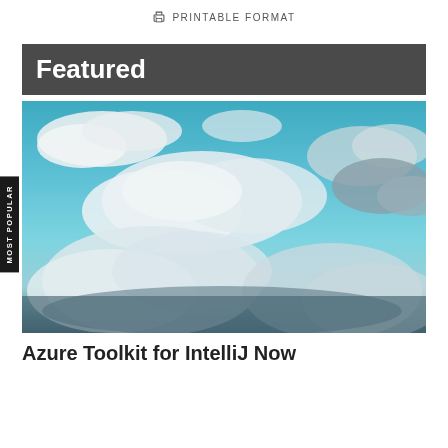PRINTABLE FORMAT
Featured
[Figure (photo): Sky photograph with blue sky and white fluffy clouds, slightly warm-toned]
Azure Toolkit for IntelliJ Now